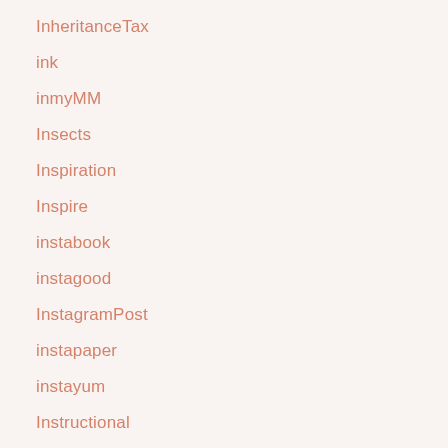IngoMoney
InheritanceTax
ink
inmyMM
Insects
Inspiration
Inspire
instabook
instagood
InstagramPost
instapaper
instayum
Instructional
InstructionalCoaching
InsulationInstallation